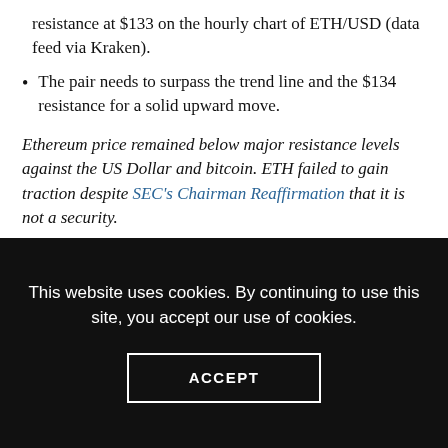resistance at $133 on the hourly chart of ETH/USD (data feed via Kraken).
The pair needs to surpass the trend line and the $134 resistance for a solid upward move.
Ethereum price remained below major resistance levels against the US Dollar and bitcoin. ETH failed to gain traction despite SEC's Chairman Reaffirmation that it is not a security.
Ethereum Price Analysis
Recently, ETH price recovered nicely after trading towards the $127 level against the US Dollar. The ETH/USD pair formed a low just above the $127 level and later corrected above the $129
This website uses cookies. By continuing to use this site, you accept our use of cookies.